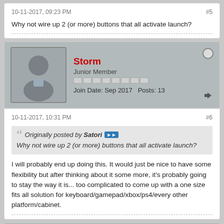10-11-2017, 09:23 PM    #5
Why not wire up 2 (or more) buttons that all activate launch?
Storm
Junior Member
Join Date: Sep 2017    Posts: 13
10-11-2017, 10:31 PM    #6
Originally posted by Satori
Why not wire up 2 (or more) buttons that all activate launch?
I will probably end up doing this. It would just be nice to have some flexibility but after thinking about it some more, it's probably going to stay the way it is... too complicated to come up with a one size fits all solution for keyboard/gamepad/xbox/ps4/every other platform/cabinet.
MacPin
Junior Member